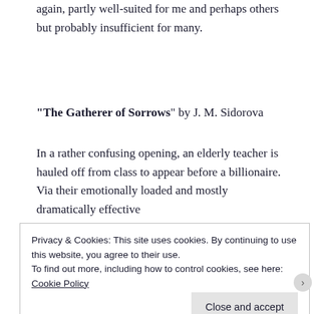again, partly well-suited for me and perhaps others but probably insufficient for many.
“The Gatherer of Sorrows” by J. M. Sidorova
In a rather confusing opening, an elderly teacher is hauled off from class to appear before a billionaire. Via their emotionally loaded and mostly dramatically effective
Privacy & Cookies: This site uses cookies. By continuing to use this website, you agree to their use.
To find out more, including how to control cookies, see here: Cookie Policy
Close and accept